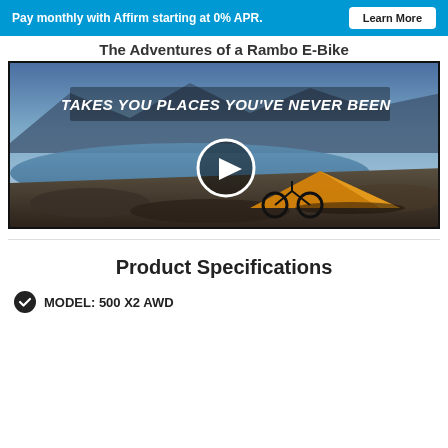Pay monthly with Affirm starting at 0% APR. Learn More
The Adventures of a Rambo E-Bike
[Figure (screenshot): Video thumbnail showing a mountain landscape with a lake, a bicycle and orange tent on rocky terrain. Text overlay reads 'TAKES YOU PLACES YOU'VE NEVER BEEN' with a play button in the center.]
Product Specifications
MODEL: 500 X2 AWD